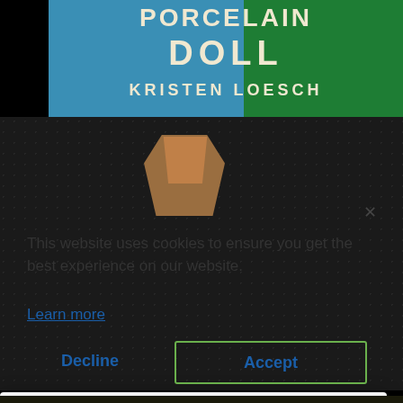[Figure (photo): Book cover for 'Porcelain Doll' by Kristen Loesch — split blue and green background with floral vine decorations and cream-colored title text]
[Figure (screenshot): Cookie consent modal dialog overlaying a dark food photography page background. Modal reads: 'This website uses cookies to ensure you get the best experience on our website.' with a 'Learn more' link and 'Decline' and 'Accept' buttons.]
This website uses cookies to ensure you get the best experience on our website.
Learn more
Decline
Accept